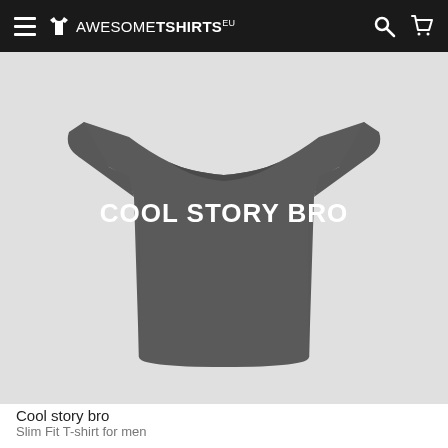AWESOMETSHIRTS EU
[Figure (photo): A dark grey slim fit men's t-shirt displayed on a mannequin. The back of the shirt shows white bold text reading 'COOL STORY BRO'. The shirt is photographed against a light grey background.]
Cool story bro
Slim Fit T-shirt for men